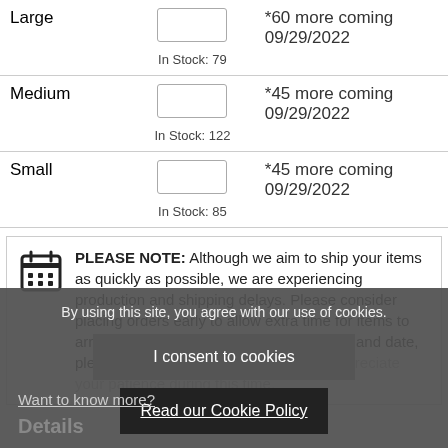| Size | Qty | Availability |
| --- | --- | --- |
| Large | In Stock: 79 | *60 more coming 09/29/2022 |
| Medium | In Stock: 122 | *45 more coming 09/29/2022 |
| Small | In Stock: 85 | *45 more coming 09/29/2022 |
PLEASE NOTE: Although we aim to ship your items as quickly as possible, we are experiencing production and shipping delays. Please consider placing orders early to allow extra time for items to arrive. If your order requires a specific in-hand date, please contact Customer Service. We appreciate your patience during this time.
By using this site, you agree with our use of cookies.
I consent to cookies
Want to know more?
Read our Cookie Policy
Details